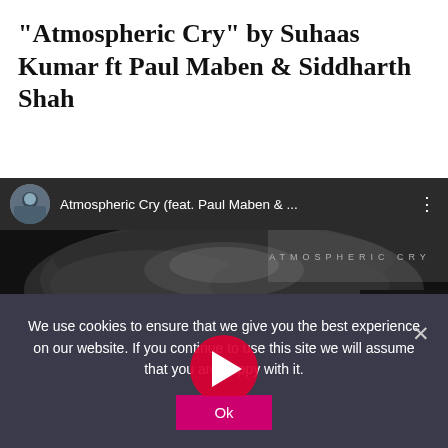“Atmospheric Cry” by Suhaas Kumar ft Paul Maben & Siddharth Shah
[Figure (screenshot): Embedded YouTube video player showing 'Atmospheric Cry (feat. Paul Maben & ...' with a black and white thumbnail of a dark atmospheric scene with a red circular play button overlay. Top bar shows a circular avatar photo and the video title.]
We use cookies to ensure that we give you the best experience on our website. If you continue to use this site we will assume that you are happy with it.